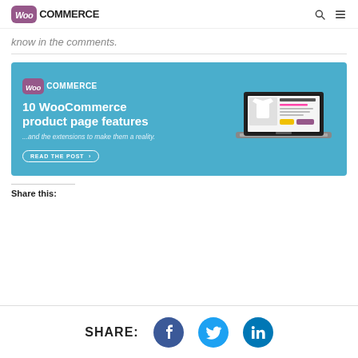WooCommerce
know in the comments.
[Figure (infographic): WooCommerce promotional banner with blue background showing '10 WooCommerce product page features ...and the extensions to make them a reality.' with a READ THE POST button and a laptop image showing a WooCommerce product page.]
Share this:
SHARE: